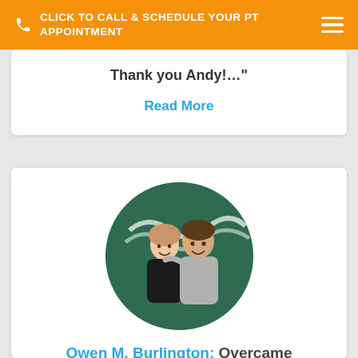CLICK TO CALL & SCHEDULE YOUR PT APPOINTMENT
Thank you Andy!…"
Read More
[Figure (photo): Circular photo of two people smiling in front of a green background with a white wave logo. A woman in a black top on the left and a man in a gray t-shirt on the right.]
Owen M. Burlington: Overcame